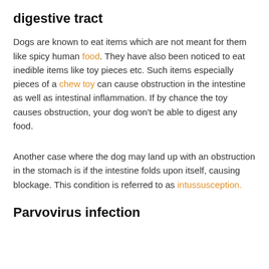digestive tract
Dogs are known to eat items which are not meant for them like spicy human food. They have also been noticed to eat inedible items like toy pieces etc. Such items especially pieces of a chew toy can cause obstruction in the intestine as well as intestinal inflammation. If by chance the toy causes obstruction, your dog won’t be able to digest any food.
Another case where the dog may land up with an obstruction in the stomach is if the intestine folds upon itself, causing blockage. This condition is referred to as intussusception.
Parvovirus infection